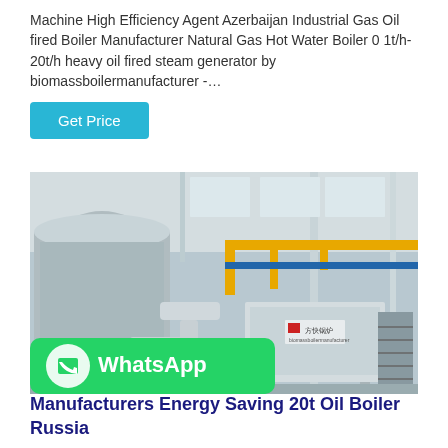Machine High Efficiency Agent Azerbaijan Industrial Gas Oil fired Boiler Manufacturer Natural Gas Hot Water Boiler 0 1t/h-20t/h heavy oil fired steam generator by biomassboilermanufacturer -…
Get Price
[Figure (photo): Industrial gas oil fired boiler installation in a large factory building, showing large cylindrical boiler units with silver/metallic insulation, yellow gas pipes running overhead, blue structural elements, and various pipe connections. A WhatsApp overlay banner is visible at the bottom of the image.]
Manufacturers Energy Saving 20t Oil Boiler Russia